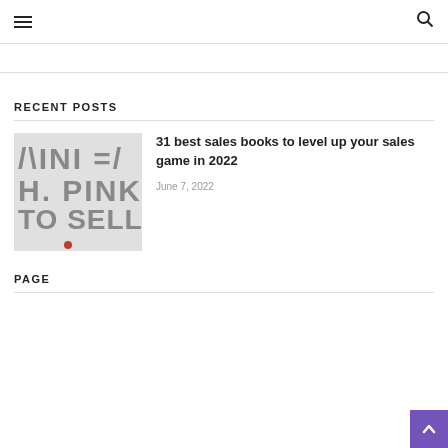☰  🔍
RECENT POSTS
[Figure (photo): Cropped book cover showing partial text: H. PINK, TO SELL I, with letters in large sans-serif font and small red accent]
31 best sales books to level up your sales game in 2022
June 7, 2022
PAGE